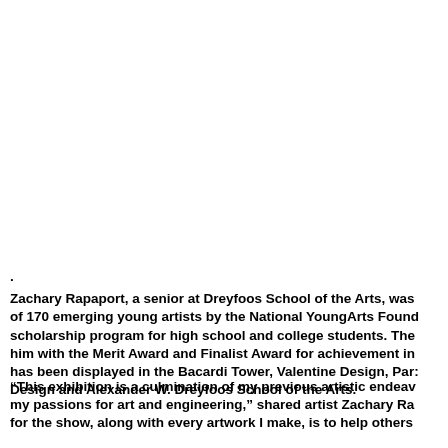. Zachary Rapaport, a senior at Dreyfoos School of the Arts, was of 170 emerging young artists by the National YoungArts Found scholarship program for high school and college students. The him with the Merit Award and Finalist Award for achievement in has been displayed in the Bacardi Tower, Valentine Design, Par Design and Alexander W. Dreyfoos School of the Arts.
“This exhibition is a culmination of my previous artistic endeav my passions for art and engineering,” shared artist Zachary Ra for the show, along with every artwork I make, is to help others